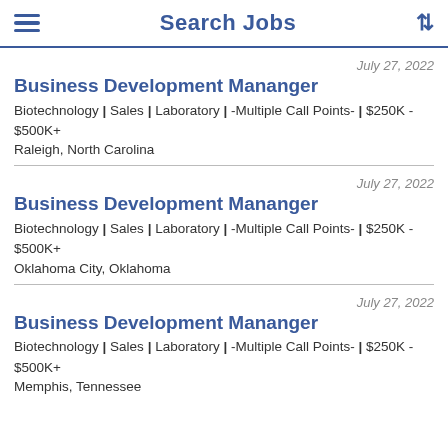Search Jobs
July 27, 2022
Business Development Mananger
Biotechnology | Sales | Laboratory | -Multiple Call Points- | $250K - $500K+
Raleigh, North Carolina
July 27, 2022
Business Development Mananger
Biotechnology | Sales | Laboratory | -Multiple Call Points- | $250K - $500K+
Oklahoma City, Oklahoma
July 27, 2022
Business Development Mananger
Biotechnology | Sales | Laboratory | -Multiple Call Points- | $250K - $500K+
Memphis, Tennessee